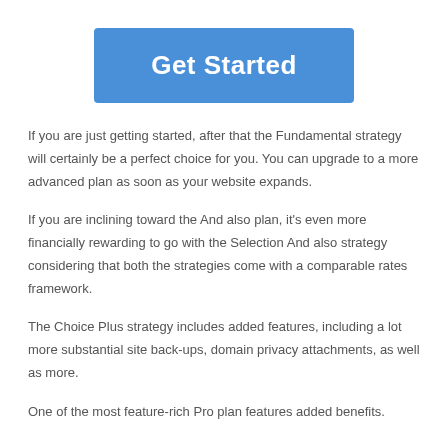Get Started
If you are just getting started, after that the Fundamental strategy will certainly be a perfect choice for you. You can upgrade to a more advanced plan as soon as your website expands.
If you are inclining toward the And also plan, it’s even more financially rewarding to go with the Selection And also strategy considering that both the strategies come with a comparable rates framework.
The Choice Plus strategy includes added features, including a lot more substantial site back-ups, domain privacy attachments, as well as more.
One of the most feature-rich Pro plan features added benefits.